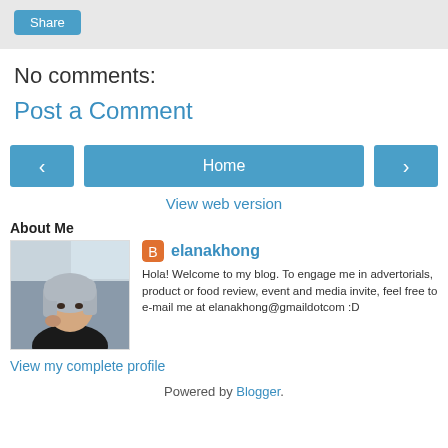[Figure (other): Share button on gray background bar]
No comments:
Post a Comment
[Figure (other): Navigation bar with left arrow button, Home button, and right arrow button]
View web version
About Me
[Figure (photo): Profile photo of elanakhong - woman with silver/grey bob haircut, wearing black top]
elanakhong
Hola! Welcome to my blog. To engage me in advertorials, product or food review, event and media invite, feel free to e-mail me at elanakhong@gmaildotcom :D
View my complete profile
Powered by Blogger.